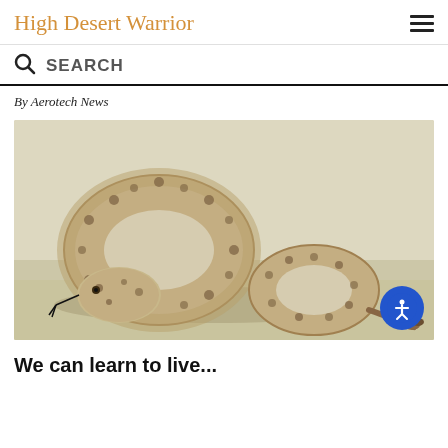High Desert Warrior
SEARCH
By Aerotech News
[Figure (photo): A sidewinder rattlesnake coiled on a sandy surface, with its tongue out and rattle visible]
We can learn to live...